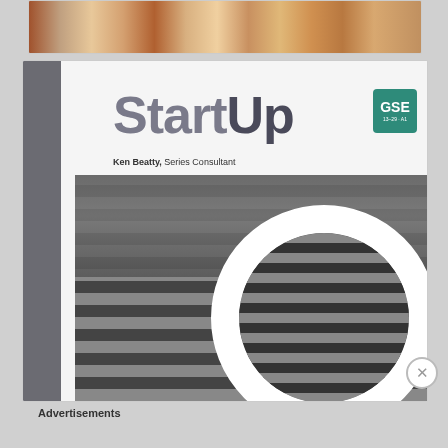[Figure (photo): Top banner image showing group photos of people in a strip layout]
[Figure (photo): StartUp textbook cover. Title 'StartUp' in large bold gray letters, author 'Ken Beatty, Series Consultant', GSE badge top right, black and white crosswalk street photo on lower half with a large circular 'O' overlay showing crosswalk stripes. Gray sidebar on left.]
Advertisements